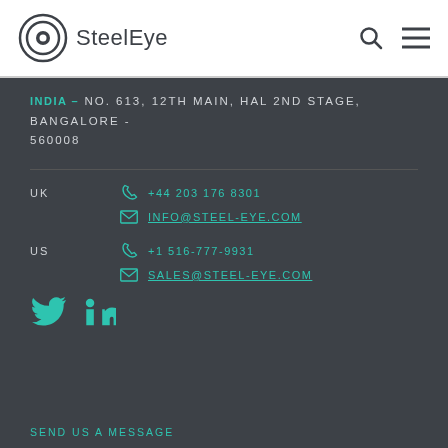SteelEye
INDIA – NO. 613, 12TH MAIN, HAL 2ND STAGE, BANGALORE - 560008
UK   +44 203 176 8301   INFO@STEEL-EYE.COM
US   +1 516-777-9931   SALES@STEEL-EYE.COM
[Figure (other): Twitter and LinkedIn social media icons in teal color]
SEND US A MESSAGE